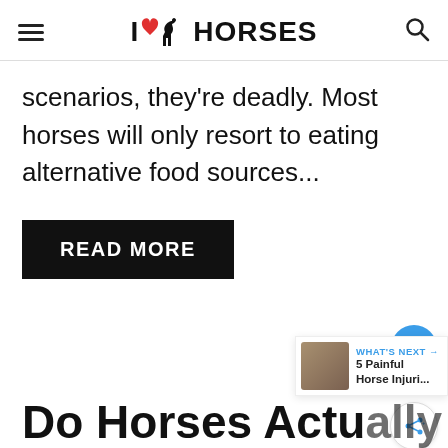I HORSES
scenarios, they're deadly. Most horses will only resort to eating alternative food sources...
READ MORE
Do Horses Actually